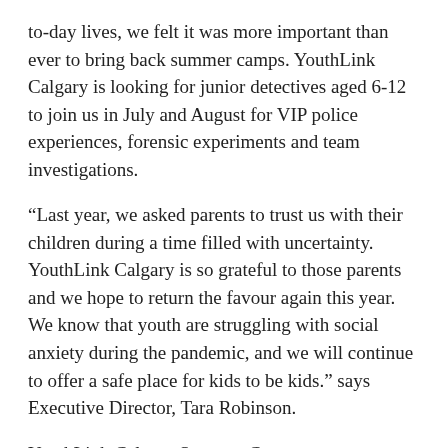to-day lives, we felt it was more important than ever to bring back summer camps. YouthLink Calgary is looking for junior detectives aged 6-12 to join us in July and August for VIP police experiences, forensic experiments and team investigations.
“Last year, we asked parents to trust us with their children during a time filled with uncertainty. YouthLink Calgary is so grateful to those parents and we hope to return the favour again this year. We know that youth are struggling with social anxiety during the pandemic, and we will continue to offer a safe place for kids to be kids.” says Executive Director, Tara Robinson.
YouthLink Calgary Summer Camps operate Monday to Friday from 9:00 a.m. to 4:00 p.m. Our camps sell out every year and we anticipate another successful summer as safety remains our top priority.